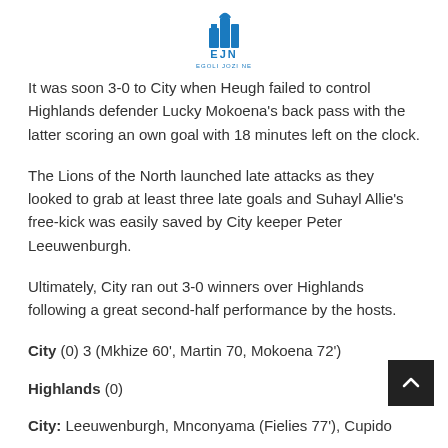[Figure (logo): EJN Egoli Jozi NE logo - blue building icon with text EJN and EGOLI JOZI NE below]
It was soon 3-0 to City when Heugh failed to control Highlands defender Lucky Mokoena's back pass with the latter scoring an own goal with 18 minutes left on the clock.
The Lions of the North launched late attacks as they looked to grab at least three late goals and Suhayl Allie's free-kick was easily saved by City keeper Peter Leeuwenburgh.
Ultimately, City ran out 3-0 winners over Highlands following a great second-half performance by the hosts.
City (0) 3 (Mkhize 60', Martin 70, Mokoena 72')
Highlands (0)
City: Leeuwenburgh, Mnconyama (Fielies 77'), Cupido